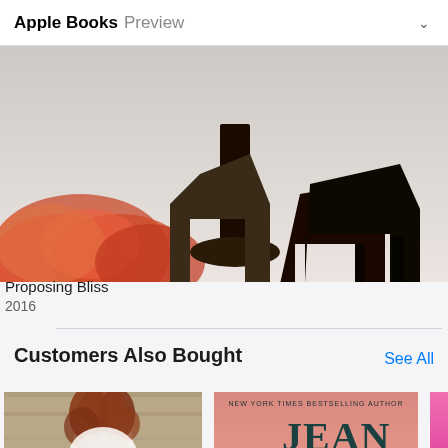Apple Books Preview
[Figure (photo): Book cover for 'Proposing Bliss' showing flowers and high heels on a white/grey background]
Proposing Bliss
2016
[Figure (photo): Book cover for 'When He Falls' by Michelle Jo Quinn, dark background with author name in large white text]
When He Falls
2017
Ch
20
Customers Also Bought
See All
[Figure (photo): Book cover for 'The Frog Prince' showing a girl with reddish hair in white lace clothing, green italic title text]
[Figure (photo): Book cover by Jean Oram, New York Times bestselling author, showing a smiling couple on pink background]
[Figure (photo): Partial view of a pink book cover on the right edge]